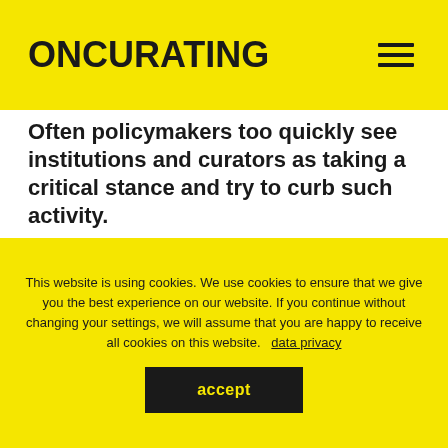ONCURATING
Often policymakers too quickly see institutions and curators as taking a critical stance and try to curb such activity.
Exhibition institutions generally have to cope with insufficient financing and political demands to 'generate' high visitor numbers. In terms of education, this can reverse the aim of educating and emancipating visitors, conveying artistic and curatorial messages that conform to the masses.
This website is using cookies. We use cookies to ensure that we give you the best experience on our website. If you continue without changing your settings, we will assume that you are happy to receive all cookies on this website. data privacy
accept